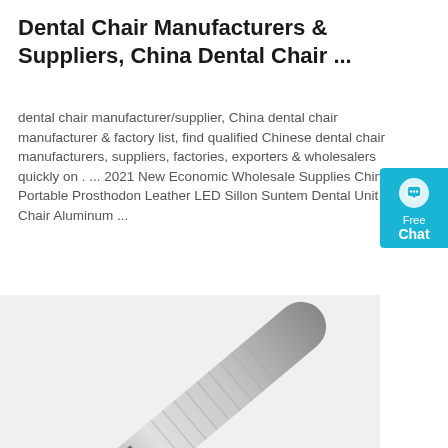Dental Chair Manufacturers & Suppliers, China Dental Chair ...
dental chair manufacturer/supplier, China dental chair manufacturer & factory list, find qualified Chinese dental chair manufacturers, suppliers, factories, exporters & wholesalers quickly on . ... 2021 New Economic Wholesale Supplies China Portable Prosthodon Leather LED Sillon Suntem Dental Unit Chair Aluminum ...
[Figure (other): Cyan chat widget button with speech bubble icon and 'Free Chat' text]
[Figure (other): Orange 'Get Price' button]
[Figure (photo): Close-up photo of a silver dental handpiece drill tool]